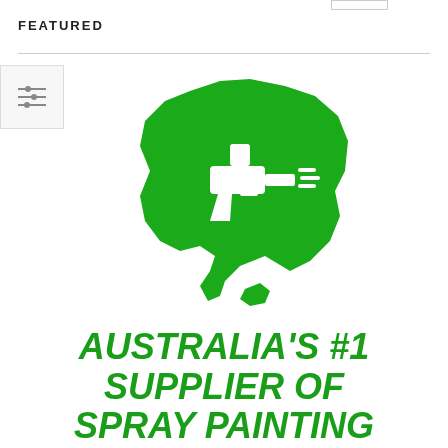FEATURED
[Figure (logo): Green silhouette of Australia map with white spray painting gun icon overlay, logo for Australia's #1 spray painting supplier]
AUSTRALIA'S #1 SUPPLIER OF SPRAY PAINTING